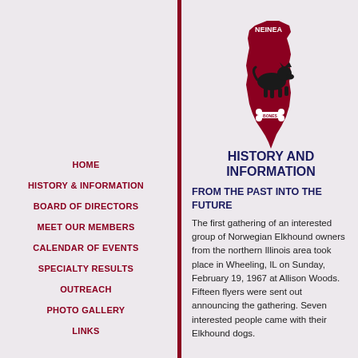[Figure (logo): Red Illinois state silhouette with a black Norwegian Elkhound dog silhouette on top and a bone graphic near the bottom. Text 'NEINEA' appears at the top of the state shape.]
HOME
HISTORY & INFORMATION
BOARD OF DIRECTORS
MEET OUR MEMBERS
CALENDAR OF EVENTS
SPECIALTY RESULTS
OUTREACH
PHOTO GALLERY
LINKS
HISTORY AND INFORMATION
FROM THE PAST INTO THE FUTURE
The first gathering of an interested group of Norwegian Elkhound owners from the northern Illinois area took place in Wheeling, IL on Sunday, February 19, 1967 at Allison Woods. Fifteen flyers were sent out announcing the gathering. Seven interested people came with their Elkhound dogs.